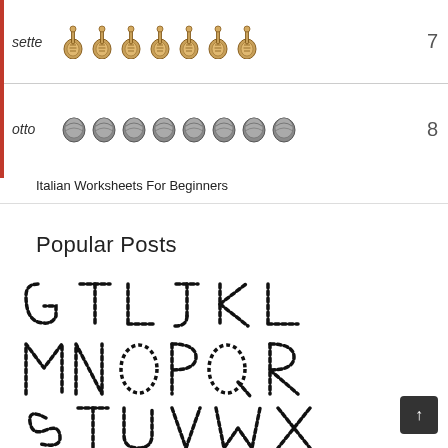[Figure (illustration): Italian numbers worksheet showing rows with word 'sette' (7) with 7 mandolin icons and row starting with 'otto' (8) with 8 walnut icons, bordered left in red]
Italian Worksheets For Beginners
Popular Posts
[Figure (illustration): Dotted-outline tracing letters: G, T, L, J, K, L in first row; M, N, O, P, Q, R in second row; S, T, U, V, W, X in third row; partial fourth row visible at bottom]